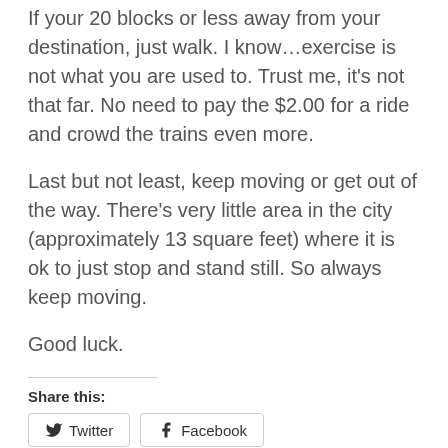If your 20 blocks or less away from your destination, just walk.  I know…exercise is not what you are used to.  Trust me, it's not that far.  No need to pay the $2.00 for a ride and crowd the trains even more.
Last but not least, keep moving or get out of the way.  There's very little area in the city (approximately 13 square feet) where it is ok to just stop and stand still.  So always keep moving.
Good luck.
Share this:
[Figure (other): Social share buttons: Twitter and Facebook buttons, a Like button with star icon, and 'Be the first to like this.' text]